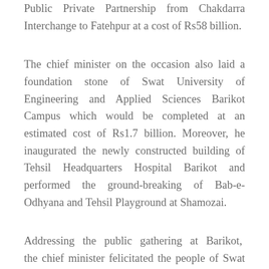Public Private Partnership from Chakdarra Interchange to Fatehpur at a cost of Rs58 billion.
The chief minister on the occasion also laid a foundation stone of Swat University of Engineering and Applied Sciences Barikot Campus which would be completed at an estimated cost of Rs1.7 billion. Moreover, he inaugurated the newly constructed building of Tehsil Headquarters Hospital Barikot and performed the ground-breaking of Bab-e-Odhyana and Tehsil Playground at Shamozai.
Addressing the public gathering at Barikot, the chief minister felicitated the people of Swat on the formal ground-breaking of Swat Motorway Phase-II and said that this project would prove to be a milestone towards sustainable development of